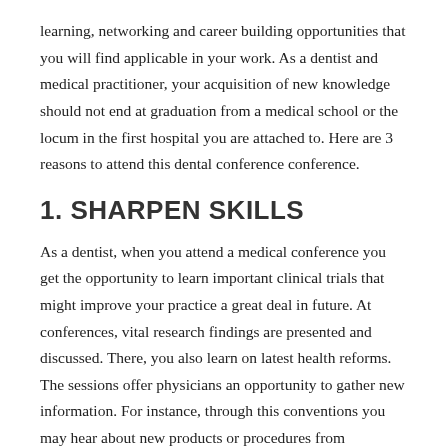learning, networking and career building opportunities that you will find applicable in your work. As a dentist and medical practitioner, your acquisition of new knowledge should not end at graduation from a medical school or the locum in the first hospital you are attached to. Here are 3 reasons to attend this dental conference conference.
1. SHARPEN SKILLS
As a dentist, when you attend a medical conference you get the opportunity to learn important clinical trials that might improve your practice a great deal in future. At conferences, vital research findings are presented and discussed. There, you also learn on latest health reforms. The sessions offer physicians an opportunity to gather new information. For instance, through this conventions you may hear about new products or procedures from colleagues that will come in handy when purchasing or prescribing drugs. Removed from the stressful routine, you will in a relaxed environment examine new drugs, supplies, techniques or